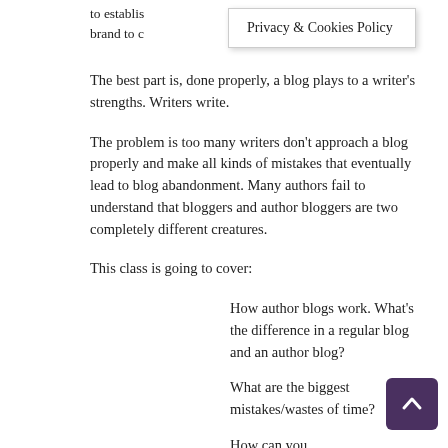to establish the power of that brand to c...
Privacy & Cookies Policy
The best part is, done properly, a blog plays to a writer's strengths. Writers write.
The problem is too many writers don't approach a blog properly and make all kinds of mistakes that eventually lead to blog abandonment. Many authors fail to understand that bloggers and author bloggers are two completely different creatures.
This class is going to cover:
How author blogs work. What's the difference in a regular blog and an author blog?
What are the biggest mistakes/wastes of time?
How can you effectively harness the power of algorithms (no computer science degree required)?
What do you blog about? What topics will engage...